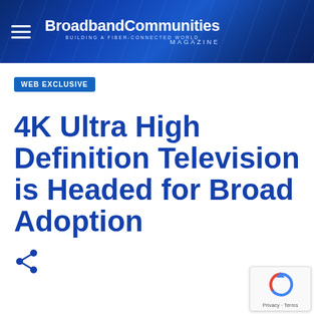BroadbandCommunities Magazine — BUILDING A FIBER-CONNECTED WORLD
WEB EXCLUSIVE
4K Ultra High Definition Television is Headed for Broad Adoption
[Figure (logo): Share icon (blue) at bottom left]
[Figure (other): reCAPTCHA badge with Privacy - Terms text at bottom right]